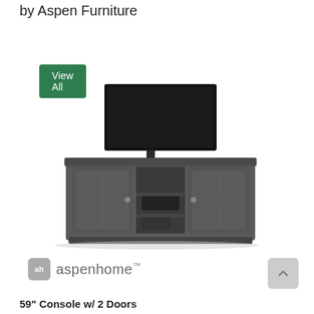by Aspen Furniture
View All
[Figure (photo): A dark gray TV console with two glass-panel doors on either side and open shelving in the center, with a large flat-screen television on top.]
[Figure (logo): aspenhome logo with 'ah' icon badge]
59" Console w/ 2 Doors